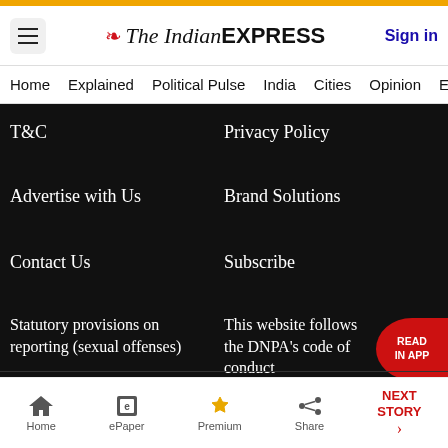The Indian Express — Sign in
Home  Explained  Political Pulse  India  Cities  Opinion  Entertainment
T&C
Privacy Policy
Advertise with Us
Brand Solutions
Contact Us
Subscribe
Statutory provisions on reporting (sexual offenses)
This website follows the DNPA's code of conduct
CSR
Home  ePaper  Premium  Share  NEXT STORY